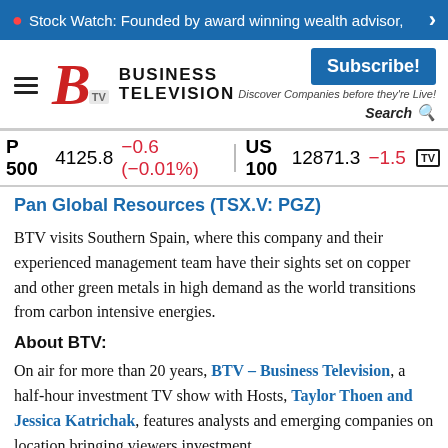Stock Watch: Founded by award winning wealth advisor,
[Figure (logo): Business Television (BTV) logo with hamburger menu, red B, TV badge, and BUSINESS TELEVISION text]
Subscribe! Discover Companies before they're Live! Search
P 500  4125.8  −0.6 (−0.01%)  |  US 100  12871.3  −1.5
Pan Global Resources (TSX.V: PGZ)
BTV visits Southern Spain, where this company and their experienced management team have their sights set on copper and other green metals in high demand as the world transitions from carbon intensive energies.
About BTV:
On air for more than 20 years, BTV – Business Television, a half-hour investment TV show with Hosts, Taylor Thoen and Jessica Katrichak, features analysts and emerging companies on location bringing viewers investment